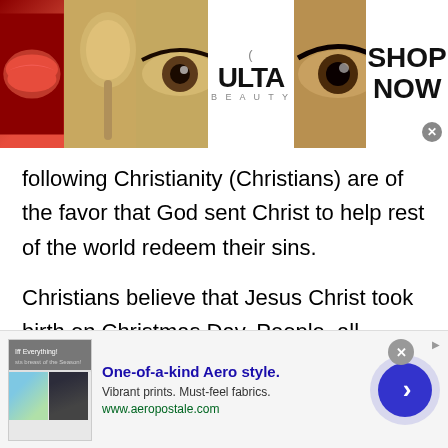[Figure (screenshot): Top advertisement banner for ULTA beauty showing makeup images, ULTA logo, and SHOP NOW call to action]
following Christianity (Christians) are of the favor that God sent Christ to help rest of the world redeem their sins.
Christians believe that Jesus Christ took birth on Christmas Day. People, all across the world, celebrate the event with their family, friends, near and dear ones. The birth of Christ is of great significance to the Christians. The X-mas day is also known as the
[Figure (screenshot): Bottom advertisement banner for Aeropostale: 'One-of-a-kind Aero style. Vibrant prints. Must-feel fabrics. www.aeropostale.com' with images and navigation arrow]